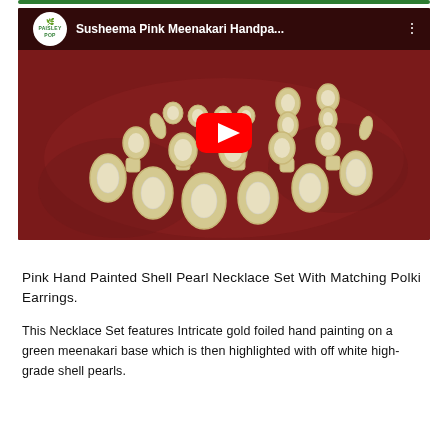[Figure (screenshot): YouTube video thumbnail showing Susheema Pink Meenakari Handpainted jewelry (necklace set with polki earrings) on a red/dark background, with YouTube play button overlay. Paisley Pop channel logo visible in top left corner.]
Pink Hand Painted Shell Pearl Necklace Set With Matching Polki Earrings.
This Necklace Set features Intricate gold foiled hand painting on a green meenakari base which is then highlighted with off white high-grade shell pearls.